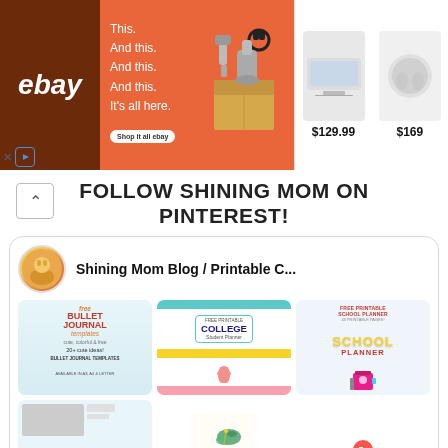[Figure (screenshot): eBay advertisement banner showing 'This. And this. And this. And this. It's all here.' with products including a laptop at $129.99 and earbuds at $169]
FOLLOW SHINING MOM ON PINTEREST!
[Figure (screenshot): Pinterest profile widget for Shining Mom Blog / Printable C... showing pins including Bullet Journal templates, Free Printable College Student Planner, Free Printable School Planner, Daily Planner Free Printable, My Vision for 2022, and How to Create Effective School]